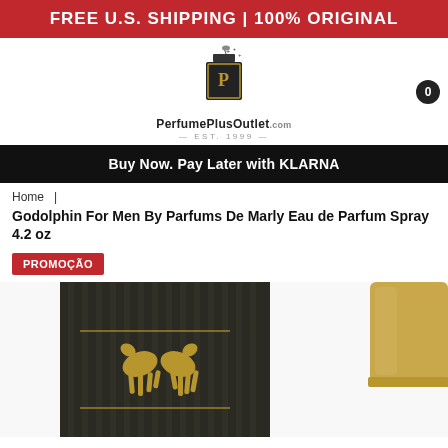FREE U.S. SHIPPING | 100% ORIGINAL
[Figure (logo): PerfumePlusOutlet.com EST. 1999 logo with perfume bottle icon]
Buy Now. Pay Later with KLARNA
Home  |
Godolphin For Men By Parfums De Marly Eau de Parfum Spray 4.2 oz
PROMOÇÃO
[Figure (photo): Parfums De Marly Godolphin perfume bottle and box with gold horse emblem on dark striped box]